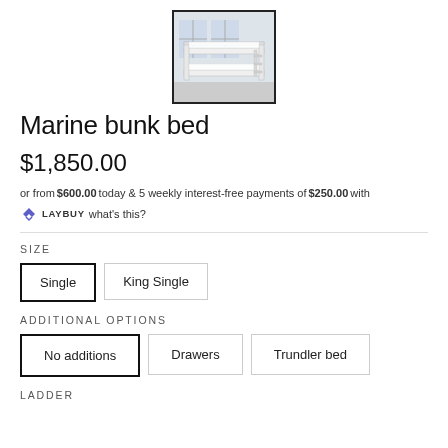[Figure (photo): Product photo of a white marine bunk bed in a room with windows, shown within a black-bordered frame]
Marine bunk bed
$1,850.00
or from $600.00 today & 5 weekly interest-free payments of $250.00 with LAYBUY what's this?
SIZE
Single
King Single
ADDITIONAL OPTIONS
No additions
Drawers
Trundler bed
LADDER